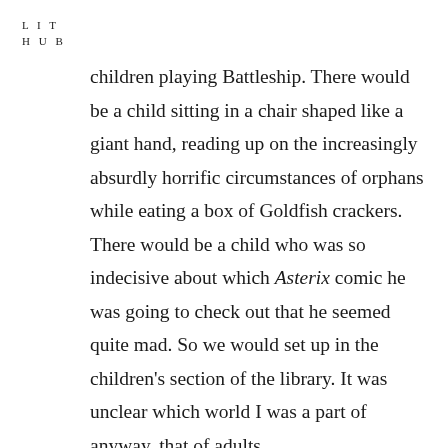L I T
H U B
children playing Battleship. There would be a child sitting in a chair shaped like a giant hand, reading up on the increasingly absurdly horrific circumstances of orphans while eating a box of Goldfish crackers. There would be a child who was so indecisive about which Asterix comic he was going to check out that he seemed quite mad. So we would set up in the children's section of the library. It was unclear which world I was a part of anyway, that of adults,